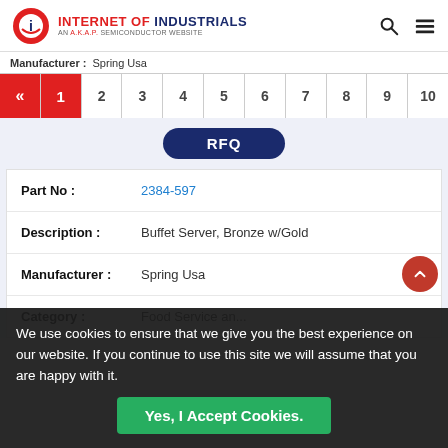INTERNET OF INDUSTRIALS — AN A.K.A.P. SEMICONDUCTOR WEBSITE
Manufacturer: Spring Usa
| « | 1 | 2 | 3 | 4 | 5 | 6 | 7 | 8 | 9 | 10 |
| --- | --- | --- | --- | --- | --- | --- | --- | --- | --- | --- |
| Field | Value |
| --- | --- |
| Part No: | 2384-597 |
| Description: | Buffet Server, Bronze w/Gold |
| Manufacturer: | Spring Usa |
| Category: | Food Service an... |
We use cookies to ensure that we give you the best experience on our website. If you continue to use this site we will assume that you are happy with it.
Yes, I Accept Cookies.
AS9120B, ISO 9001:2015, FAA 8056R Accredited